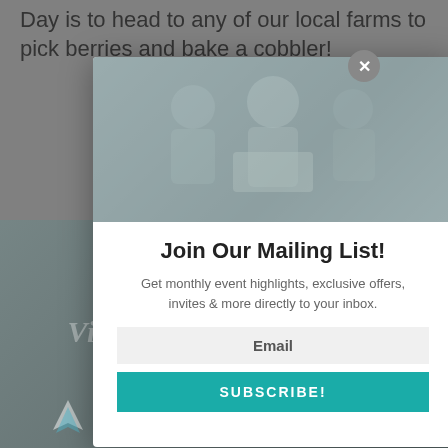Day is to head to any of our local farms to pick berries and bake a cobbler!
[Figure (screenshot): Modal popup overlay on a dimmed webpage. The modal contains a mailing list signup form with title 'Join Our Mailing List!', subtitle text, an email input field, and a teal Subscribe button. Behind the modal is a dimmed background showing a photo of people and text 'Virtual Activities Guide' and 'SPONSORED BY' with a Modsy logo.]
Join Our Mailing List!
Get monthly event highlights, exclusive offers, invites & more directly to your inbox.
Email
SUBSCRIBE!